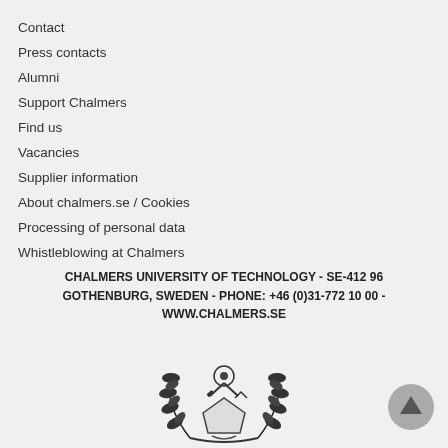Contact
Press contacts
Alumni
Support Chalmers
Find us
Vacancies
Supplier information
About chalmers.se / Cookies
Processing of personal data
Whistleblowing at Chalmers
CHALMERS UNIVERSITY OF TECHNOLOGY - SE-412 96 GOTHENBURG, SWEDEN - PHONE: +46 (0)31-772 10 00 - WWW.CHALMERS.SE
[Figure (logo): Chalmers University of Technology crest/logo with laurel wreaths and engineering tools]